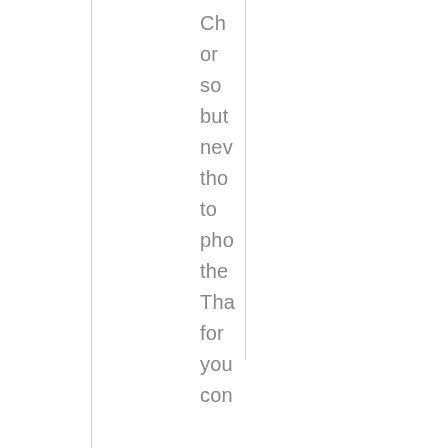Ch
or
so
but
new
tho
to
pho
the
Tha
for
you
con

—

Kar